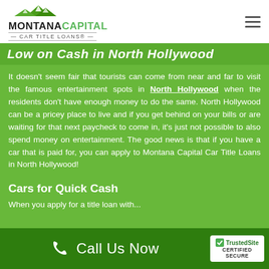[Figure (logo): Montana Capital Car Title Loans logo with green mountain silhouette]
Low on Cash in North Hollywood
It doesn't seem fair that tourists can come from near and far to visit the famous entertainment spots in North Hollywood when the residents don't have enough money to do the same. North Hollywood can be a pricey place to live and if you get behind on your bills or are waiting for that next paycheck to come in, it's just not possible to also spend money on entertainment. The good news is that if you have a car that is paid for, you can apply to Montana Capital Car Title Loans in North Hollywood!
Cars for Quick Cash
When you apply for a title loan with...
Call Us Now   TrustedSite CERTIFIED SECURE